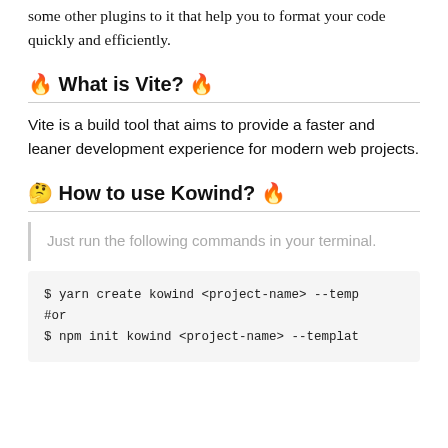some other plugins to it that help you to format your code quickly and efficiently.
🔥 What is Vite? 🔥
Vite is a build tool that aims to provide a faster and leaner development experience for modern web projects.
🤔 How to use Kowind? 🔥
Just run the following commands in your terminal.
$ yarn create kowind <project-name> --temp
#or
$ npm init kowind <project-name> --templat